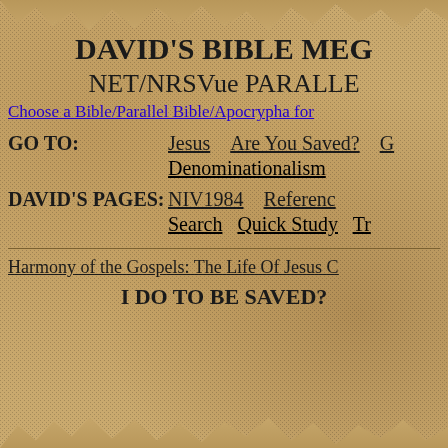DAVID'S BIBLE MEG...
NET/NRSVue PARALLE...
Choose a Bible/Parallel Bible/Apocrypha for...
GO TO:   Jesus   Are You Saved?   Denominationalism ...
DAVID'S PAGES:   NIV1984   Reference...   Search   Quick Study   Tr...
Harmony of the Gospels: The Life Of Jesus C...
I DO TO BE SAVED?